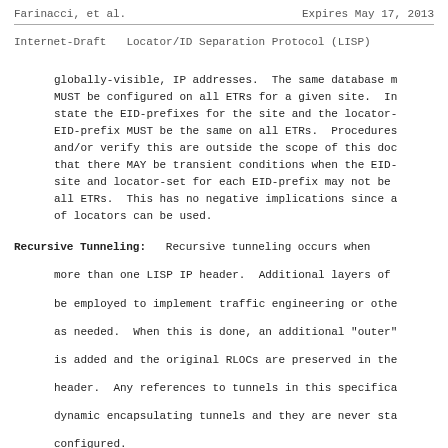Farinacci, et al.    Expires May 17, 2013
Internet-Draft    Locator/ID Separation Protocol (LISP)
globally-visible, IP addresses.  The same database m MUST be configured on all ETRs for a given site.  In state the EID-prefixes for the site and the locator- EID-prefix MUST be the same on all ETRs.  Procedures and/or verify this are outside the scope of this doc that there MAY be transient conditions when the EID- site and locator-set for each EID-prefix may not be all ETRs.  This has no negative implications since a of locators can be used.
Recursive Tunneling:  Recursive tunneling occurs when more than one LISP IP header.  Additional layers of be employed to implement traffic engineering or othe as needed.  When this is done, an additional "outer" is added and the original RLOCs are preserved in the header.  Any references to tunnels in this specifica dynamic encapsulating tunnels and they are never sta configured.
Reencapsulating Tunnels:  Reencapsulating tunneling oc ETR removes a LISP header, then acts as an ITR to pr LISP header.  Doing this allows a packet to be re-ro